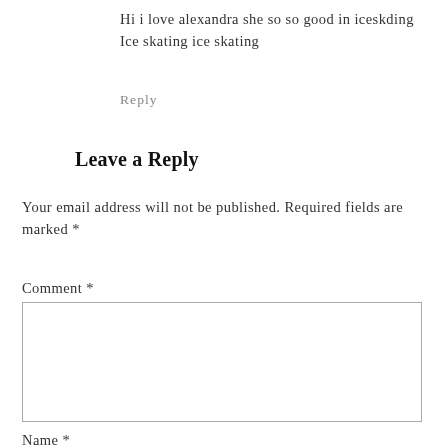Hi i love alexandra she so so good in iceskding Ice skating ice skating
Reply
Leave a Reply
Your email address will not be published. Required fields are marked *
Comment *
Name *